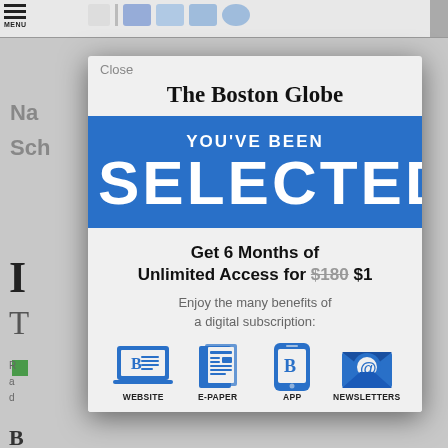[Figure (screenshot): Screenshot of a Boston Globe subscription modal overlay on a news website. The modal shows 'The Boston Globe' masthead in blackletter font, a blue banner reading 'YOU'VE BEEN SELECTED', then an offer for '6 Months of Unlimited Access for $180 $1' with $180 struck through. Below is text 'Enjoy the many benefits of a digital subscription:' followed by four icons for WEBSITE, E-PAPER, APP, and NEWSLETTERS.]